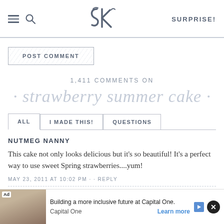SK — SURPRISE!
POST COMMENT
1,411 COMMENTS ON
· strawberry summer cake ·
ALL  |  I MADE THIS!  |  QUESTIONS
NUTMEG NANNY
This cake not only looks delicious but it's so beautiful! It's a perfect way to use sweet Spring strawberries....yum!
MAY 23, 2011 AT 10:02 PM -- REPLY
Ad — Building a more inclusive future at Capital One. Capital One — Learn more